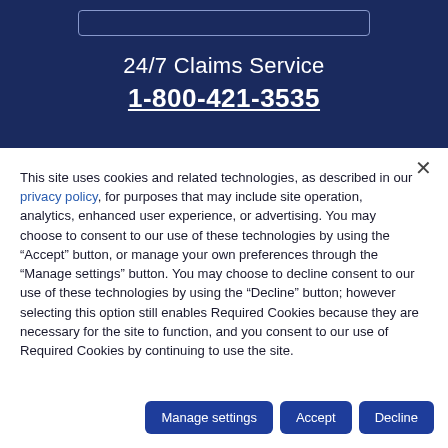24/7 Claims Service
1-800-421-3535
This site uses cookies and related technologies, as described in our privacy policy, for purposes that may include site operation, analytics, enhanced user experience, or advertising. You may choose to consent to our use of these technologies by using the "Accept" button, or manage your own preferences through the "Manage settings" button. You may choose to decline consent to our use of these technologies by using the "Decline" button; however selecting this option still enables Required Cookies because they are necessary for the site to function, and you consent to our use of Required Cookies by continuing to use the site.